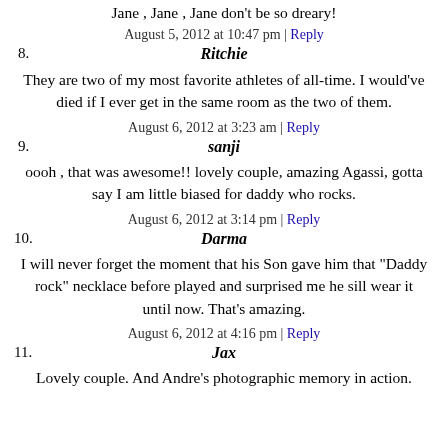Jane , Jane , Jane don't be so dreary!
August 5, 2012 at 10:47 pm | Reply
8. Ritchie
They are two of my most favorite athletes of all-time. I would've died if I ever get in the same room as the two of them.
August 6, 2012 at 3:23 am | Reply
9. sanji
oooh , that was awesome!! lovely couple, amazing Agassi, gotta say I am little biased for daddy who rocks.
August 6, 2012 at 3:14 pm | Reply
10. Darma
I will never forget the moment that his Son gave him that "Daddy rock" necklace before played and surprised me he sill wear it until now. That's amazing.
August 6, 2012 at 4:16 pm | Reply
11. Jax
Lovely couple. And Andre's photographic memory in action.